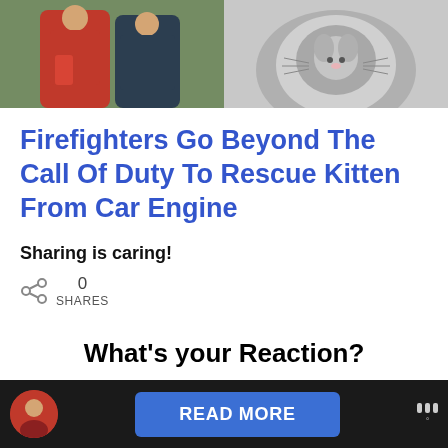[Figure (photo): Two-panel photo strip: left panel shows firefighters in red shirts, right panel shows a fluffy kitten]
Firefighters Go Beyond The Call Of Duty To Rescue Kitten From Car Engine
Sharing is caring!
0 SHARES
What's your Reaction?
[Figure (screenshot): Dark bottom bar with red thumbnail on left, blue READ MORE button in center, and triple-dot icon on right]